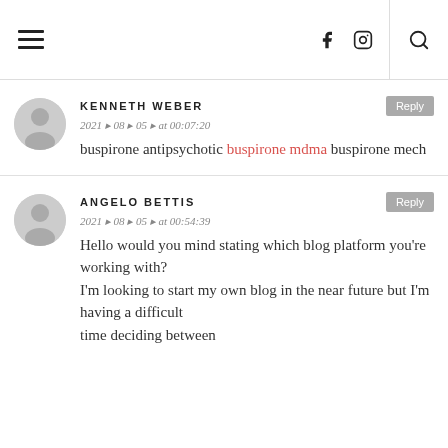Navigation header with hamburger menu, social icons (Facebook, Instagram), and search
KENNETH WEBER
2021 ▸ 08 ▸ 05 ▸ at 00:07:20
buspirone antipsychotic buspirone mdma buspirone mech
ANGELO BETTIS
2021 ▸ 08 ▸ 05 ▸ at 00:54:39
Hello would you mind stating which blog platform you're working with?
I'm looking to start my own blog in the near future but I'm having a difficult time deciding between